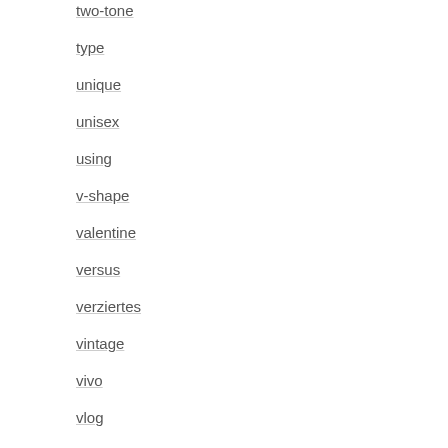two-tone
type
unique
unisex
using
v-shape
valentine
versus
verziertes
vintage
vivo
vlog
vvs1
vvs1d